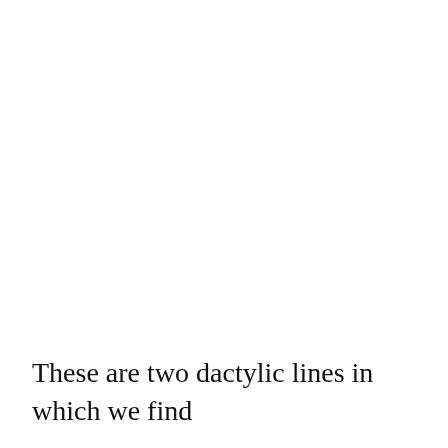These are two dactylic lines in which we find